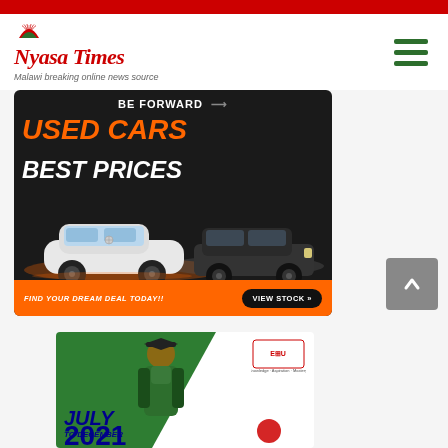[Figure (logo): Nyasa Times logo with red text, arch icon and subtitle 'Malawi breaking online news source']
[Figure (advertisement): Be Forward used cars best prices advertisement with two cars and 'FIND YOUR DREAM DEAL TODAY!! VIEW STOCK' banner]
[Figure (advertisement): University July to December 2021 enrollment advertisement with graduate student photo]